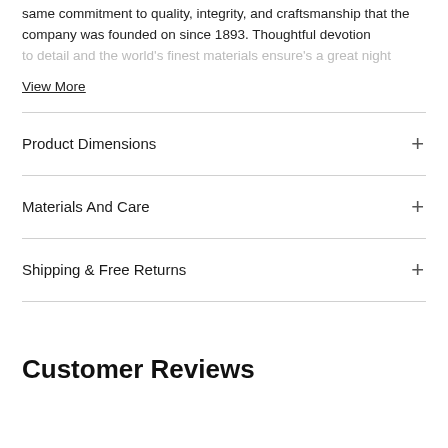same commitment to quality, integrity, and craftsmanship that the company was founded on since 1893. Thoughtful devotion to detail and the world's finest materials ensure's a great night
View More
Product Dimensions
Materials And Care
Shipping & Free Returns
Customer Reviews